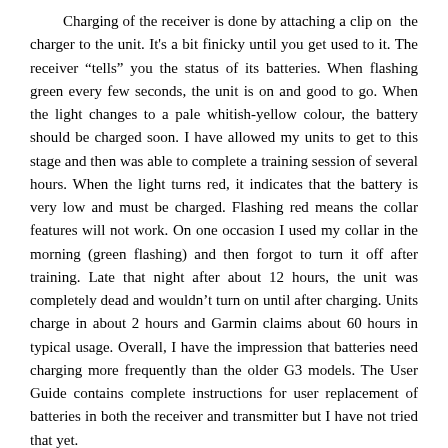Charging of the receiver is done by attaching a clip on the charger to the unit. It's a bit finicky until you get used to it. The receiver "tells" you the status of its batteries. When flashing green every few seconds, the unit is on and good to go. When the light changes to a pale whitish-yellow colour, the battery should be charged soon. I have allowed my units to get to this stage and then was able to complete a training session of several hours. When the light turns red, it indicates that the battery is very low and must be charged. Flashing red means the collar features will not work. On one occasion I used my collar in the morning (green flashing) and then forgot to turn it off after training. Late that night after about 12 hours, the unit was completely dead and wouldn't turn on until after charging. Units charge in about 2 hours and Garmin claims about 60 hours in typical usage. Overall, I have the impression that batteries need charging more frequently than the older G3 models. The User Guide contains complete instructions for user replacement of batteries in both the receiver and transmitter but I have not tried that yet.

Time will tell just how durable these units will be. They appear more robust and are designed more strongly than earlier versions. I have faith in the electronics having been Tri-Tronics engineer designed. Incidentally, there are industry standards around what is "water proof"